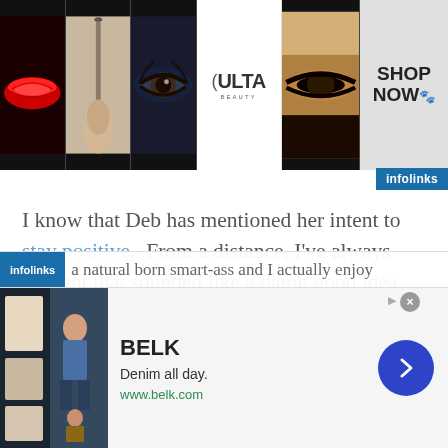[Figure (infographic): Ulta Beauty advertisement banner showing beauty/makeup photos (red lips, makeup brush, eye with makeup, Ulta Beauty logo, smoky eye close-up) with SHOP NOW call to action on the right]
[Figure (logo): infolinks badge in blue]
I know that Deb has mentioned her intent to stay positive.  From a distance, I've always thought that sounded like a damn good idea.  Personally, I didn't know if I could do it.
[Figure (infographic): infolinks bottom bar with scrolling text: a natural born smart-ass and I actually enjoy]
[Figure (infographic): Belk advertisement banner: BELK logo, Denim all day., www.belk.com, with fashion photos and a blue arrow button]